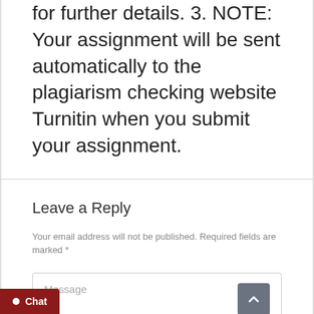for further details. 3. NOTE: Your assignment will be sent automatically to the plagiarism checking website Turnitin when you submit your assignment.
Leave a Reply
Your email address will not be published. Required fields are marked *
Message